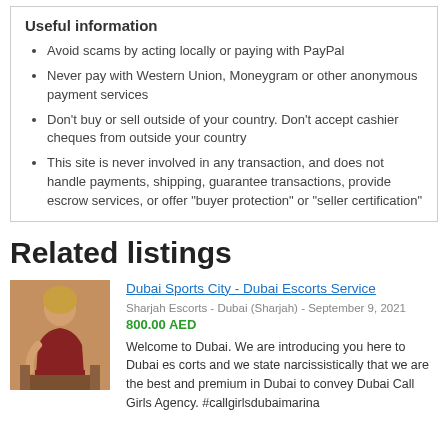Useful information
Avoid scams by acting locally or paying with PayPal
Never pay with Western Union, Moneygram or other anonymous payment services
Don't buy or sell outside of your country. Don't accept cashier cheques from outside your country
This site is never involved in any transaction, and does not handle payments, shipping, guarantee transactions, provide escrow services, or offer "buyer protection" or "seller certification"
Related listings
[Figure (photo): Photo of a woman in a red outfit sitting on a couch]
Dubai Sports City - Dubai Escorts Service
Sharjah Escorts - Dubai (Sharjah) - September 9, 2021
800.00 AED

Welcome to Dubai. We are introducing you here to Dubai es corts and we state narcissistically that we are the best and premium in Dubai to convey Dubai Call Girls Agency. #callgirlsdubaimarina